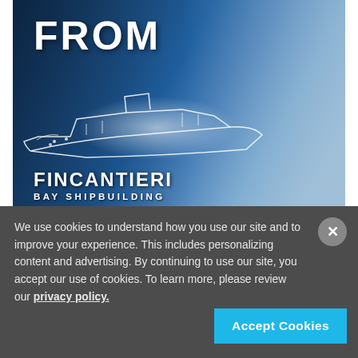[Figure (photo): Fincantieri Bay Shipbuilding promotional image: a man in glasses and suit holds a stylus or pen, with a glowing digital overlay of a ship outline projected in front of him. Large white text reads 'FROM' at the top left. The company logo 'FINCANTIERI BAY SHIPBUILDING' appears at the bottom in white bold text.]
We use cookies to understand how you use our site and to improve your experience. This includes personalizing content and advertising. By continuing to use our site, you accept our use of cookies. To learn more, please review our privacy policy.